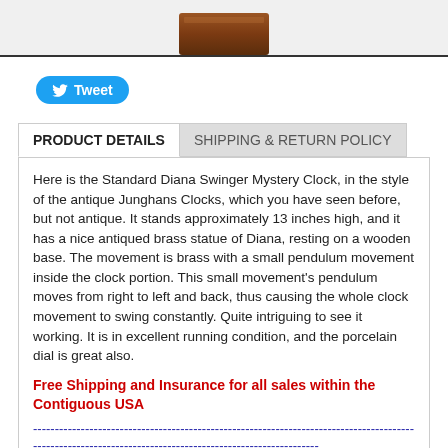[Figure (photo): Partial view of a wooden base of an antique-style clock at the top of the page]
Tweet
PRODUCT DETAILS | SHIPPING & RETURN POLICY
Here is the Standard Diana Swinger Mystery Clock, in the style of the antique Junghans Clocks, which you have seen before, but not antique. It stands approximately 13 inches high, and it has a nice antiqued brass statue of Diana, resting on a wooden base. The movement is brass with a small pendulum movement inside the clock portion. This small movement's pendulum moves from right to left and back, thus causing the whole clock movement to swing constantly. Quite intriguing to see it working. It is in excellent running condition, and the porcelain dial is great also.
Free Shipping and Insurance for all sales within the Contiguous USA
------------------------------------------------------------------------------------------------------------------------------------------------
**FOR INTERNATIONAL BUYER**
Shipping Charge for this item is $110.
Add Shipping Charge   $110